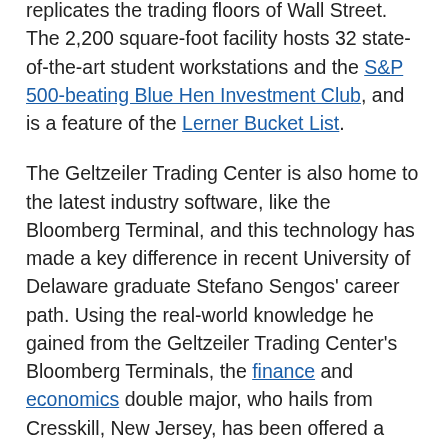replicates the trading floors of Wall Street. The 2,200 square-foot facility hosts 32 state-of-the-art student workstations and the S&P 500-beating Blue Hen Investment Club, and is a feature of the Lerner Bucket List.
The Geltzeiler Trading Center is also home to the latest industry software, like the Bloomberg Terminal, and this technology has made a key difference in recent University of Delaware graduate Stefano Sengos' career path. Using the real-world knowledge he gained from the Geltzeiler Trading Center's Bloomberg Terminals, the finance and economics double major, who hails from Cresskill, New Jersey, has been offered a position with Bloomberg. He'll begin work this fall.